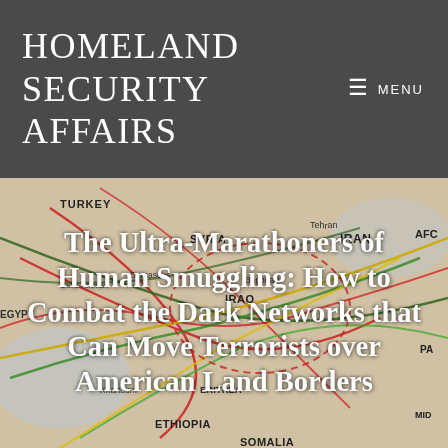Homeland Security Affairs
[Figure (map): A map showing Middle East and surrounding regions with overlapping colored route lines (red, green, yellow) indicating smuggling or movement networks. Country labels visible include Turkey, Syria, Iran, Iraq, Egypt, Ethiopia, Somalia, Eritrea, and others. City labels include Tehran, Damascus, Baghdad.]
The Ultra-Marathoners of Human Smuggling: How to Combat the Dark Networks that Can Move Terrorists over American Land Borders